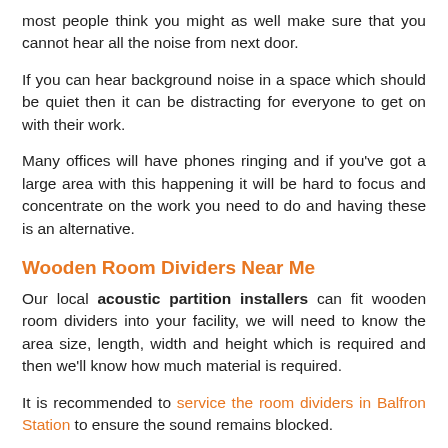most people think you might as well make sure that you cannot hear all the noise from next door.
If you can hear background noise in a space which should be quiet then it can be distracting for everyone to get on with their work.
Many offices will have phones ringing and if you've got a large area with this happening it will be hard to focus and concentrate on the work you need to do and having these is an alternative.
Wooden Room Dividers Near Me
Our local acoustic partition installers can fit wooden room dividers into your facility, we will need to know the area size, length, width and height which is required and then we'll know how much material is required.
It is recommended to service the room dividers in Balfron Station to ensure the sound remains blocked.
When we have an idea of the sizing, we can quote you for the range of partition materials and then you can see what you would like to have installed and to check whether it is in your budget.